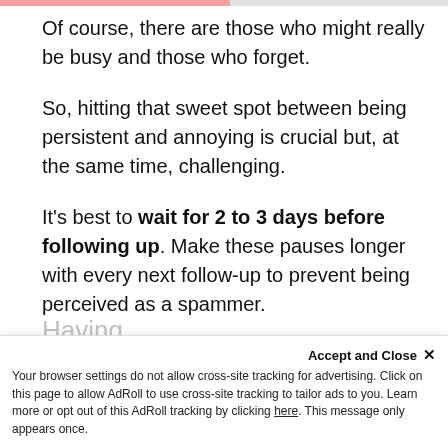Of course, there are those who might really be busy and those who forget.
So, hitting that sweet spot between being persistent and annoying is crucial but, at the same time, challenging.
It’s best to wait for 2 to 3 days before following up. Make these pauses longer with every next follow-up to prevent being perceived as a spammer.
Having
Accept and Close × Your browser settings do not allow cross-site tracking for advertising. Click on this page to allow AdRoll to use cross-site tracking to tailor ads to you. Learn more or opt out of this AdRoll tracking by clicking here. This message only appears once.